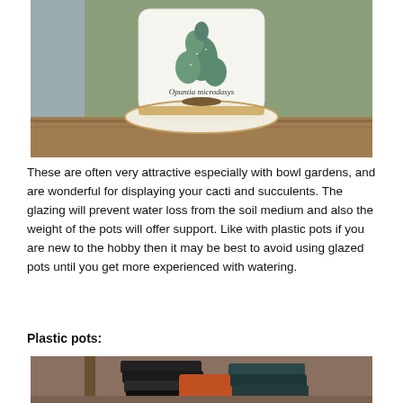[Figure (photo): Close-up photo of a white ceramic pot with a cactus illustration labeled 'Opuntia microdasys', sitting on a matching white ceramic saucer with a brownish-gold rim, placed on a wooden surface outdoors.]
These are often very attractive especially with bowl gardens, and are wonderful for displaying your cacti and succulents. The glazing will prevent water loss from the soil medium and also the weight of the pots will offer support. Like with plastic pots if you are new to the hobby then it may be best to avoid using glazed pots until you get more experienced with watering.
Plastic pots:
[Figure (photo): Partial photo at bottom of page showing stacked plastic pots of various colors (black, orange, dark teal) on a wooden surface, partially cropped.]